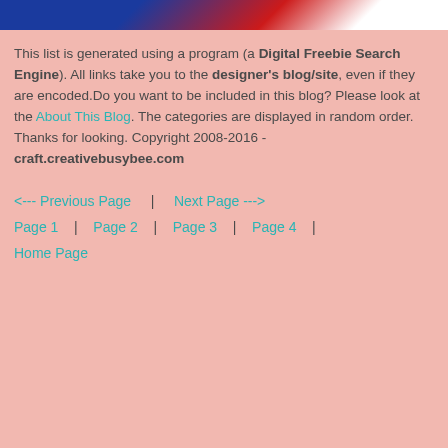[Figure (photo): Colorful image strip at top showing decorative crafts/items on a blue, red and white background]
This list is generated using a program (a Digital Freebie Search Engine). All links take you to the designer's blog/site, even if they are encoded.Do you want to be included in this blog? Please look at the About This Blog. The categories are displayed in random order. Thanks for looking. Copyright 2008-2016 - craft.creativebusybee.com
<--- Previous Page | Next Page ---> Page 1 | Page 2 | Page 3 | Page 4 | Home Page